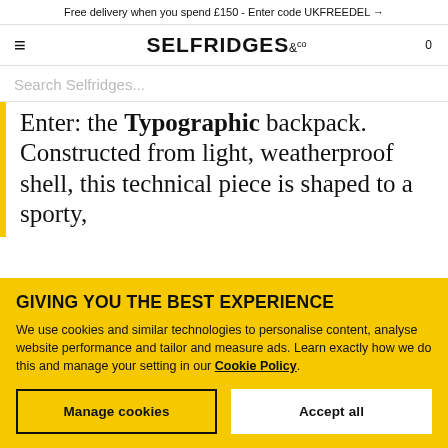Free delivery when you spend £150 - Enter code UKFREEDEL →
[Figure (logo): Selfridges & Co logo with hamburger menu icon on left and cart icon (0) on right]
Search Selfridges...
Enter: the Typographic backpack. Constructed from light, weatherproof shell, this technical piece is shaped to a sporty,
GIVING YOU THE BEST EXPERIENCE
We use cookies and similar technologies to personalise content, analyse website performance and tailor and measure ads. Learn exactly how we do this and manage your setting in our Cookie Policy.
Manage cookies
Accept all